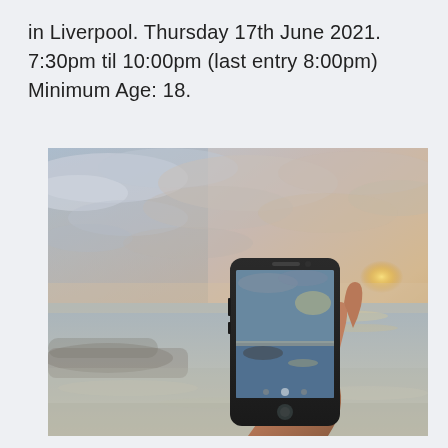in Liverpool. Thursday 17th June 2021. 7:30pm til 10:00pm (last entry 8:00pm) Minimum Age: 18.
[Figure (photo): A hand holding a smartphone up against a coastal sunset sky, with the phone screen displaying the same sky and sea scene. The background shows a dramatic cloudy sky with warm golden light on the horizon and rocky shoreline below.]